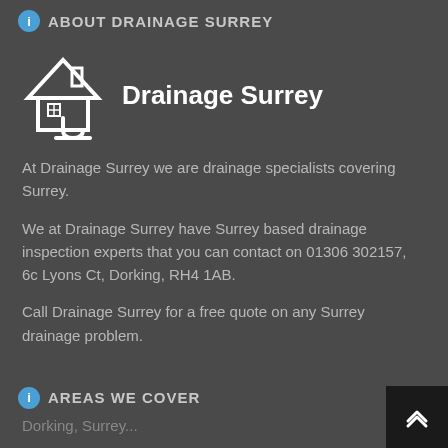ABOUT DRAINAGE SURREY
[Figure (logo): Drainage Surrey logo: white house/drain icon with curved pipe, next to bold white text 'Drainage Surrey']
At Drainage Surrey we are drainage specialists covering Surrey.

We at Drainage Surrey have Surrey based drainage inspection experts that you can contact on 01306 302157, 6c Lyons Ct, Dorking, RH4 1AB.

Call Drainage Surrey for a free quote on any Surrey drainage problem.
AREAS WE COVER